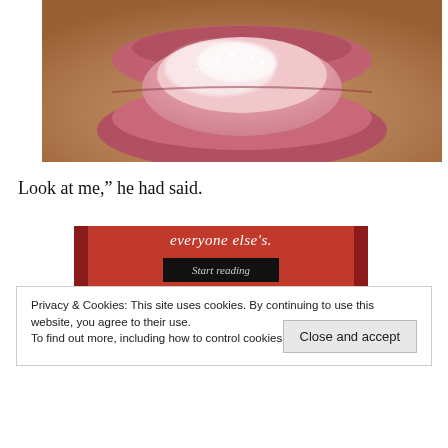[Figure (photo): Close-up macro photograph of a person's lips and mouth area, tongue visible licking lips dusted with white sugar or powder, warm skin tones.]
Look at me," he had said.
[Figure (infographic): Red advertisement banner with dark maroon side bars. White italic text reads 'everyone else's.' with a black 'Start reading' button below.]
Privacy & Cookies: This site uses cookies. By continuing to use this website, you agree to their use.
To find out more, including how to control cookies, see here: Cookie Policy